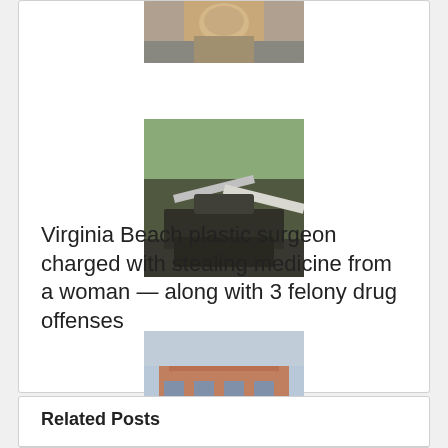[Figure (photo): Partial photo of a person's face/upper body, cropped at top]
[Figure (photo): Photo of a fire scene with water being sprayed, firefighting scene with debris]
Virginia Beach plastic surgeon charged with stealing medicine from a woman — along with 3 felony drug offenses
[Figure (photo): Photo of a brick courthouse or government building exterior]
Related Posts